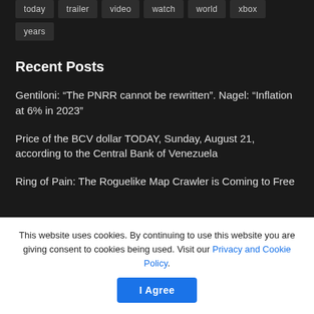today
trailer
video
watch
world
xbox
years
Recent Posts
Gentiloni: “The PNRR cannot be rewritten”. Nagel: “Inflation at 6% in 2023”
Price of the BCV dollar TODAY, Sunday, August 21, according to the Central Bank of Venezuela
Ring of Pain: The Roguelike Map Crawler is Coming to Free
This website uses cookies. By continuing to use this website you are giving consent to cookies being used. Visit our Privacy and Cookie Policy.